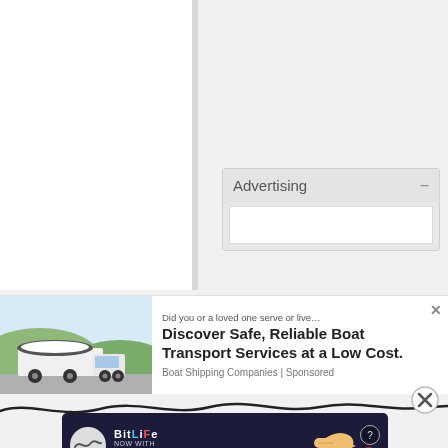[Figure (screenshot): Browser page with two white columns separated by a gray divider on a light gray background, top portion of an article page]
[Figure (infographic): Advertising widget panel with 'Advertising' header and minus button, containing an empty white content area]
[Figure (screenshot): Popup advertisement showing a boat being transported on a truck with headline 'Discover Safe, Reliable Boat Transport Services at a Low Cost.' from Boat Shipping Companies | Sponsored, with a close X button]
[Figure (infographic): Squiggly line decoration across the page with a circular X close button on the right]
[Figure (screenshot): BitLife game advertisement banner with 'NOW WITH GOD MODE' text, pointing hand graphic, question mark and X icons]